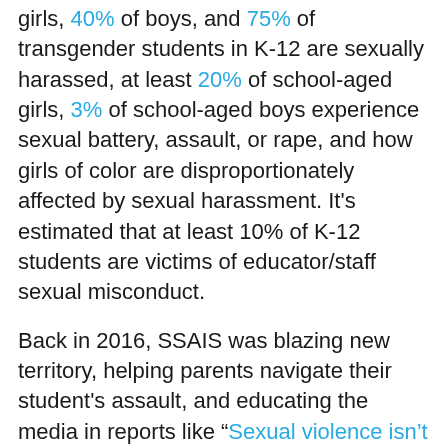girls, 40% of boys, and 75% of transgender students in K-12 are sexually harassed, at least 20% of school-aged girls, 3% of school-aged boys experience sexual battery, assault, or rape, and how girls of color are disproportionately affected by sexual harassment. It's estimated that at least 10% of K-12 students are victims of educator/staff sexual misconduct.
Back in 2016, SSAIS was blazing new territory, helping parents navigate their student's assault, and educating the media in reports like "Sexual violence isn't just a college problem. It happens in K-12 schools, too." We laid out the problems and solutions in the